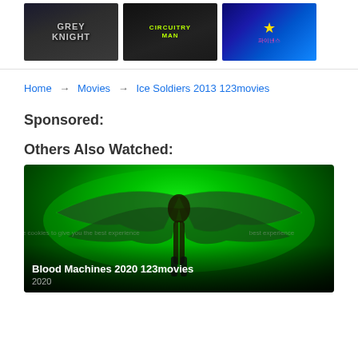[Figure (photo): Three movie thumbnails: Grey Knight, Circuitry Man, and a Korean movie]
Home → Movies → Ice Soldiers 2013 123movies
Sponsored:
Others Also Watched:
[Figure (photo): Blood Machines 2020 movie card with angel silhouette on green background, title: Blood Machines 2020 123movies, year: 2020]